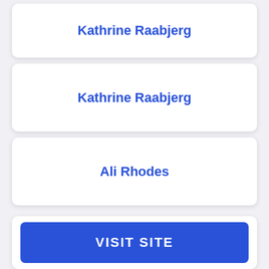Kathrine Raabjerg
Kathrine Raabjerg
Ali Rhodes
VISIT SITE